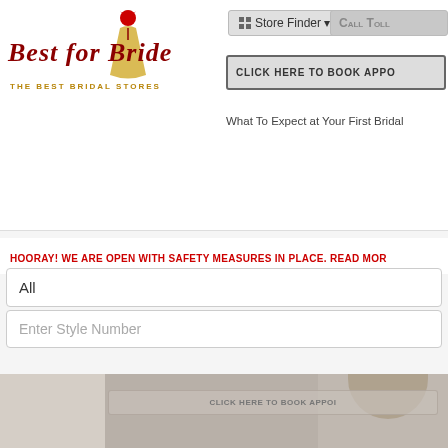[Figure (logo): Best for Bride logo with bridal gown figure and tagline THE BEST BRIDAL STORES]
Store Finder
CALL TOLL
CLICK HERE TO BOOK APPO
What To Expect at Your First Bridal
HOORAY! WE ARE OPEN WITH SAFETY MEASURES IN PLACE. READ MOR
All
Enter Style Number
[Figure (screenshot): Bottom photo strip showing bridal store interior and bride, with CLICK HERE TO BOOK APPOI button overlay]